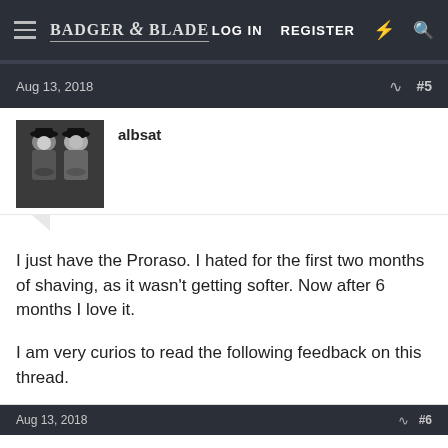BADGER & BLADE  LOG IN  REGISTER
Aug 13, 2018  #5
albsat
I just have the Proraso. I hated for the first two months of shaving, as it wasn't getting softer. Now after 6 months I love it.

I am very curios to read the following feedback on this thread.